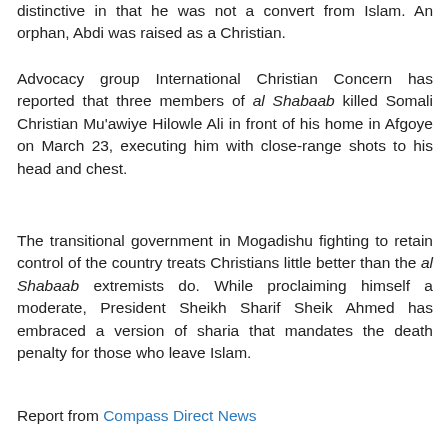distinctive in that he was not a convert from Islam. An orphan, Abdi was raised as a Christian.
Advocacy group International Christian Concern has reported that three members of al Shabaab killed Somali Christian Mu'awiye Hilowle Ali in front of his home in Afgoye on March 23, executing him with close-range shots to his head and chest.
The transitional government in Mogadishu fighting to retain control of the country treats Christians little better than the al Shabaab extremists do. While proclaiming himself a moderate, President Sheikh Sharif Sheik Ahmed has embraced a version of sharia that mandates the death penalty for those who leave Islam.
Report from Compass Direct News